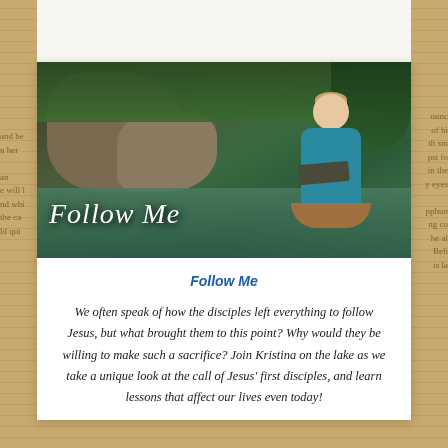[Figure (photo): Photo of a woman sitting in a canoe on a lake/river surrounded by rocks and green trees, holding an open book. Overlaid text reads 'Follow Me' in white italic script.]
Follow Me
We often speak of how the disciples left everything to follow Jesus, but what brought them to this point? Why would they be willing to make such a sacrifice? Join Kristina on the lake as we take a unique look at the call of Jesus' first disciples, and learn lessons that affect our lives even today!